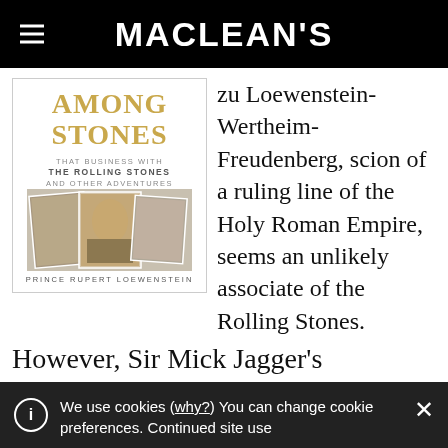MACLEAN'S
[Figure (photo): Book cover of 'Among Stones: That Business with The Rolling Stones and Other Adventures' by Prince Rupert Loewenstein. Shows the book title in gold lettering and three photographs of people.]
zu Loewenstein-Wertheim-Freudenberg, scion of a ruling line of the Holy Roman Empire, seems an unlikely associate of the Rolling Stones. However, Sir Mick Jagger's proclivity for “crossing the portal into a
We use cookies (why?) You can change cookie preferences. Continued site use